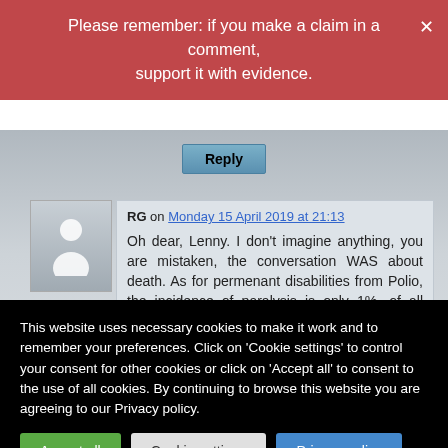Please remember: if you make a claim in a comment, support it with evidence.
RG on Monday 15 April 2019 at 21:13
Oh dear, Lenny. I don't imagine anything, you are mistaken, the conversation WAS about death. As for permenant disabilities from Polio, the incidence of paralysis is only 1%, of all Polio infections, of that number, many
This website uses necessary cookies to make it work and to remember your preferences. Click on 'Cookie settings' to control your consent for other cookies or click on 'Accept all' to consent to the use of all cookies. By continuing to browse this website you are agreeing to our Privacy policy.
Accept all
Cookie settings
Privacy policy